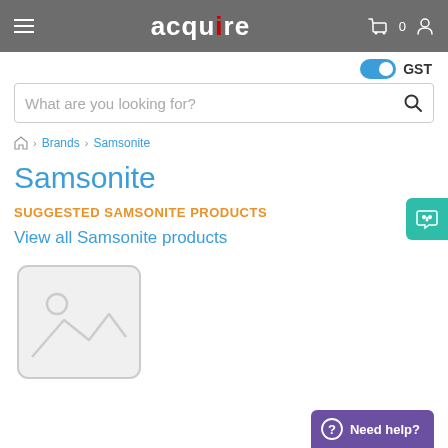acquire — header bar with menu, logo, cart (0), and user icon
GST toggle (on)
What are you looking for? (search bar)
Home > Brands > Samsonite
Samsonite
SUGGESTED SAMSONITE PRODUCTS
View all Samsonite products
[Figure (illustration): Placeholder image icon (mountain/image placeholder in light grey)]
Need help?